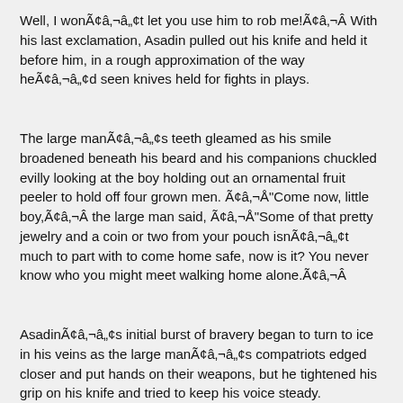Well, I wonÃ¢â‚¬â„¢t let you use him to rob me!Ã¢â‚¬Â With his last exclamation, Asadin pulled out his knife and held it before him, in a rough approximation of the way heÃ¢â‚¬â„¢d seen knives held for fights in plays.
The large manÃ¢â‚¬â„¢s teeth gleamed as his smile broadened beneath his beard and his companions chuckled evilly looking at the boy holding out an ornamental fruit peeler to hold off four grown men. Ã¢â‚¬Å"Come now, little boy,Ã¢â‚¬Â the large man said, Ã¢â‚¬Å"Some of that pretty jewelry and a coin or two from your pouch isnÃ¢â‚¬â„¢t much to part with to come home safe, now is it? You never know who you might meet walking home alone.Ã¢â‚¬Â
AsadinÃ¢â‚¬â„¢s initial burst of bravery began to turn to ice in his veins as the large manÃ¢â‚¬â„¢s compatriots edged closer and put hands on their weapons, but he tightened his grip on his knife and tried to keep his voice steady. Ã¢â‚¬Å"You canÃ¢â‚¬â„¢t rob me here, all these people will tell the mamluks, and youÃ¢â‚¬â„¢ll be punished!Ã¢â‚¬Â